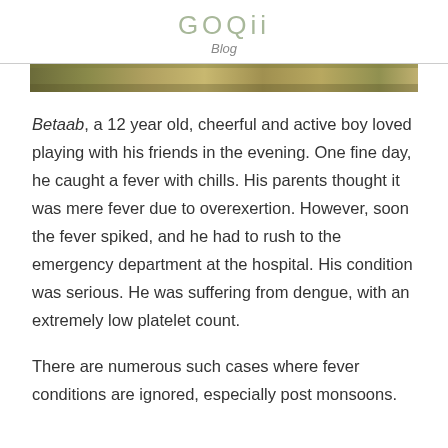GOQii
Blog
[Figure (photo): A horizontal strip showing an outdoor/nature scene, likely a field or landscape with green and yellow tones.]
Betaab, a 12 year old, cheerful and active boy loved playing with his friends in the evening. One fine day, he caught a fever with chills. His parents thought it was mere fever due to overexertion. However, soon the fever spiked, and he had to rush to the emergency department at the hospital. His condition was serious. He was suffering from dengue, with an extremely low platelet count.
There are numerous such cases where fever conditions are ignored, especially post monsoons.